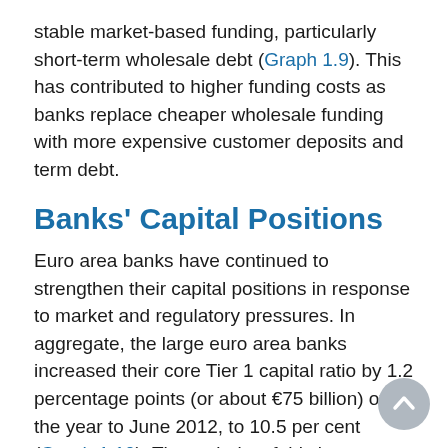stable market-based funding, particularly short-term wholesale debt (Graph 1.9). This has contributed to higher funding costs as banks replace cheaper wholesale funding with more expensive customer deposits and term debt.
Banks' Capital Positions
Euro area banks have continued to strengthen their capital positions in response to market and regulatory pressures. In aggregate, the large euro area banks increased their core Tier 1 capital ratio by 1.2 percentage points (or about €75 billion) over the year to June 2012, to 10.5 per cent (Graph 1.10). The majority of this increase came from higher capital levels, mainly retained earnings and the conversion of hybrids to common equity; there was little issuance of new equity given depressed share prices in the region. Most of the